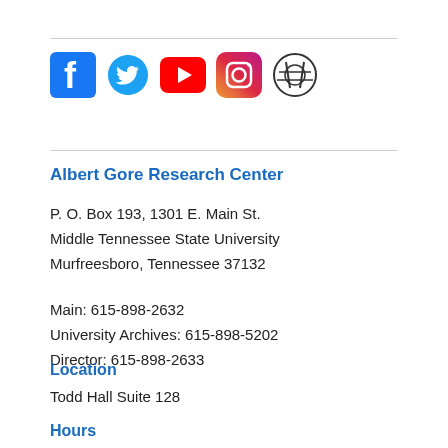[Figure (other): Social media icons: Facebook, Twitter, YouTube, Instagram, WordPress]
Albert Gore Research Center
P. O. Box 193, 1301 E. Main St.
Middle Tennessee State University
Murfreesboro, Tennessee 37132
Main: 615-898-2632
University Archives: 615-898-5202
Director: 615-898-2633
Location
Todd Hall Suite 128
Hours